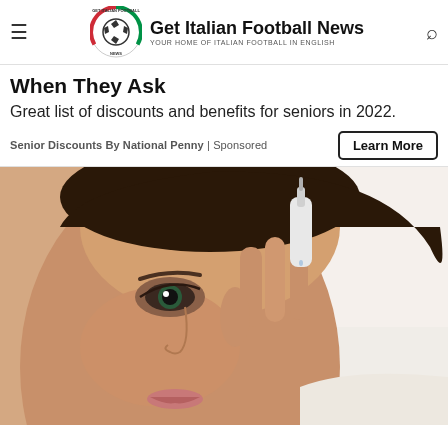Get Italian Football News — YOUR HOME OF ITALIAN FOOTBALL IN ENGLISH
When They Ask
Great list of discounts and benefits for seniors in 2022.
Senior Discounts By National Penny | Sponsored
[Figure (photo): Woman applying eye drops, close-up of face and hand holding eye drop bottle near eye]